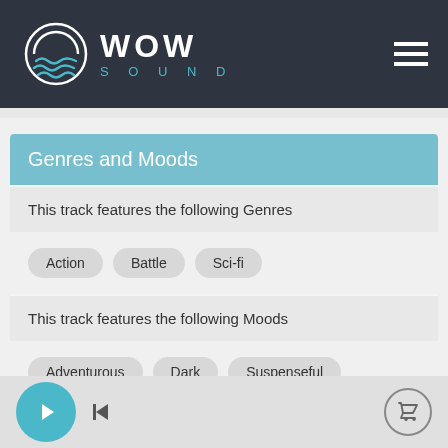[Figure (logo): WOW SOUND logo with circular wave graphic on dark navy background header]
Genres and Moods
This track features the following Genres
Action
Battle
Sci-fi
This track features the following Moods
Adventurous
Dark
Suspenseful
Tense
[Figure (other): Player bar with play button, skip button, and cart button]